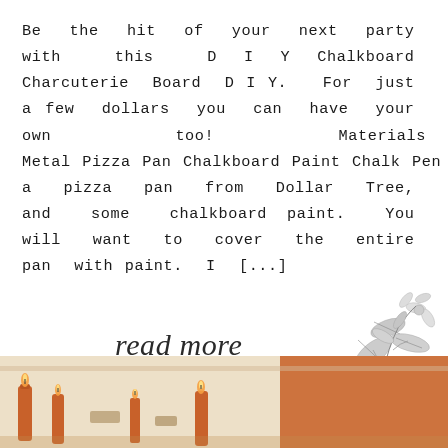Be the hit of your next party with this DIY Chalkboard Charcuterie Board DIY.  For just a few dollars you can have your own too! Materials Metal Pizza Pan Chalkboard Paint Chalk Pen Grab a pizza pan from Dollar Tree, and some chalkboard paint. You will want to cover the entire pan with paint. I [...]
read more
[Figure (illustration): Grayscale botanical illustration of leaves and flowers in the upper right of the read more section]
[Figure (photo): Bottom strip showing candles and orange/rust colored objects on a table surface, partial photo cropped at edges]